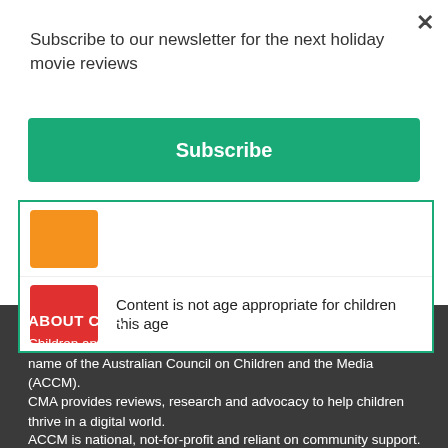Subscribe to our newsletter for the next holiday movie reviews
Subscribe
Content is not age appropriate for children this age
ABOUT CMA
Children and Media Australia (CMA) is a registered business name of the Australian Council on Children and the Media (ACCM).
CMA provides reviews, research and advocacy to help children thrive in a digital world.
ACCM is national, not-for-profit and reliant on community support. You can help.